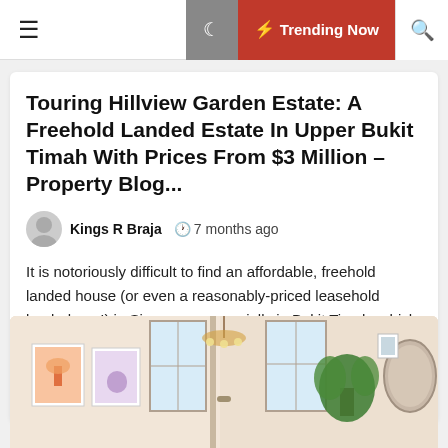☰  ☽  ⚡ Trending Now  🔍
Touring Hillview Garden Estate: A Freehold Landed Estate In Upper Bukit Timah With Prices From $3 Million – Property Blog...
Kings R Braja  🕐 7 months ago
It is notoriously difficult to find an affordable, freehold landed house (or even a reasonably-priced leasehold landed one!) in Singapore, especially in Bukit Timah, which has many GCB enclaves. Hence, when I saw a freehold landed house listing at around $3 million at Hillview Garden Estate, I immediately thought of [...]
[Figure (photo): Interior photo of a bright residential room with large windows, a chandelier, potted plant, wall art, and a mirror]